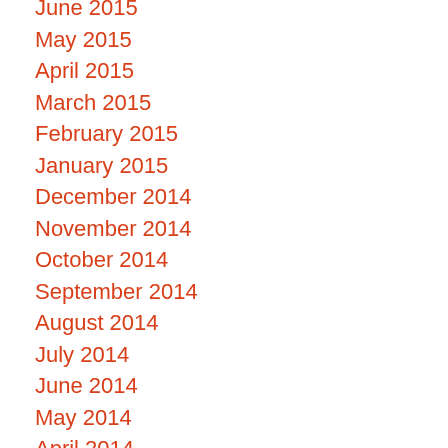June 2015
May 2015
April 2015
March 2015
February 2015
January 2015
December 2014
November 2014
October 2014
September 2014
August 2014
July 2014
June 2014
May 2014
April 2014
March 2014
February 2014
January 2014
December 2013
November 2013
October 2013